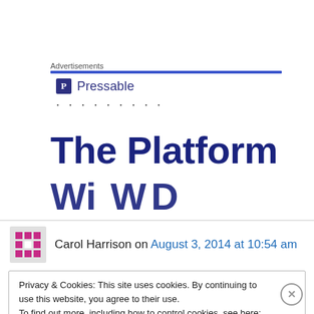Advertisements
[Figure (logo): Pressable brand logo with blue icon and name, followed by decorative dots]
The Platform
Carol Harrison on August 3, 2014 at 10:54 am
Privacy & Cookies: This site uses cookies. By continuing to use this website, you agree to their use.
To find out more, including how to control cookies, see here: Cookie Policy
Close and accept